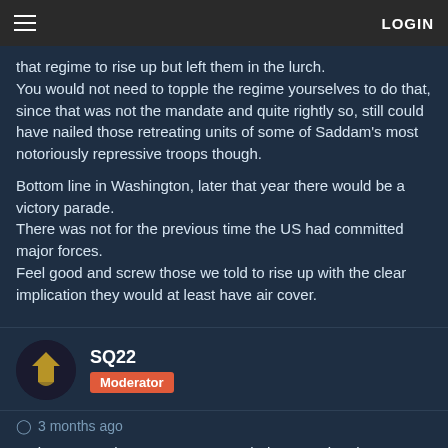LOGIN
that regime to rise up but left them in the lurch.
You would not need to topple the regime yourselves to do that, since that was not the mandate and quite rightly so, still could have nailed those retreating units of some of Saddam's most notoriously repressive troops though.

Bottom line in Washington, later that year there would be a victory parade.
There was not for the previous time the US had committed major forces.
Feel good and screw those we told to rise up with the clear implication they would at least have air cover.
SQ22
Moderator
3 months ago
As it seems to be necessary to remind you again, please keep this thread on topic, the current US president and his predecessor are not subject of discussion in this thread.
IADCA